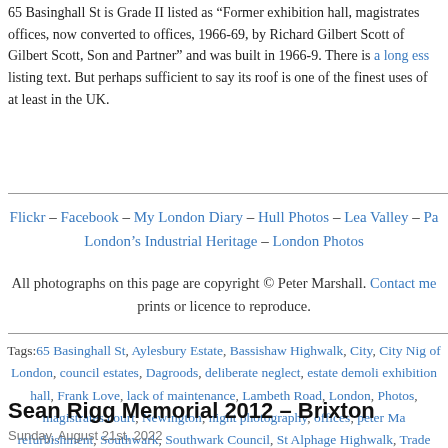65 Basinghall St is Grade II listed as “Former exhibition hall, magistrates offices, now converted to offices, 1966-69, by Richard Gilbert Scott of Gilbert Scott, Son and Partner” and was built in 1966-9. There is a long ess listing text. But perhaps sufficient to say its roof is one of the finest uses of at least in the UK.
Flickr – Facebook – My London Diary – Hull Photos – Lea Valley – Pa London’s Industrial Heritage – London Photos
All photographs on this page are copyright © Peter Marshall. Contact me prints or licence to reproduce.
Tags: 65 Basinghall St, Aylesbury Estate, Bassishaw Highwalk, City, City Nig of London, council estates, Dagroods, deliberate neglect, estate demoli exhibition hall, Frank Love, lack of maintenance, Lambeth Road, London, Photos, magistrates court, Newington, night photography, offices, peter Ma refurbishment, Southwark, Southwark Council, St Alphage Highwalk, Trade Walk, Walworth, Wendover Posted in LondonPhotos, My Own Work | No Comments »
Sean Rigg Memorial 2012 – Brixton
Sunday, August 21st, 2022